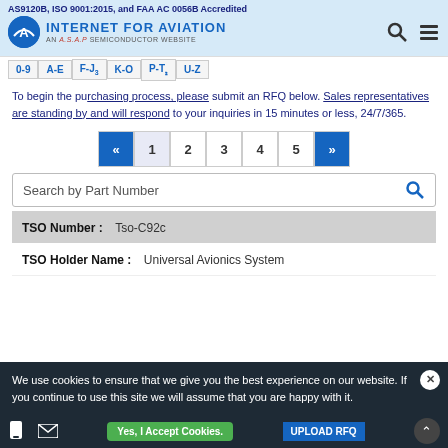AS9120B, ISO 9001:2015, and FAA AC 0056B Accredited
INTERNET FOR AVIATION — AN A.S.A.P SEMICONDUCTOR WEBSITE
To begin the purchasing process, please submit an RFQ below. Sales representatives are standing by and will respond to your inquiries in 15 minutes or less, 24/7/365.
« 1 2 3 4 5 »
Search by Part Number
| Field | Value |
| --- | --- |
| TSO Number : | Tso-C92c |
| TSO Holder Name : | Universal Avionics System |
We use cookies to ensure that we give you the best experience on our website. If you continue to use this site we will assume that you are happy with it.
Yes, I Accept Cookies.  UPLOAD RFQ